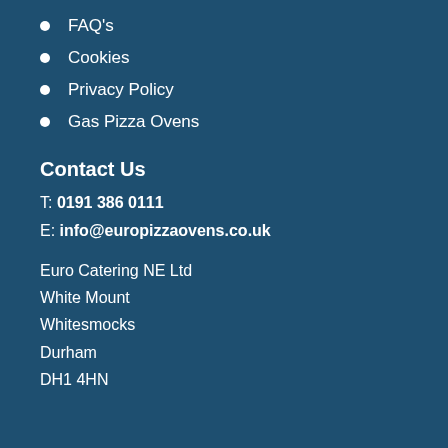FAQ's
Cookies
Privacy Policy
Gas Pizza Ovens
Contact Us
T: 0191 386 0111
E: info@europizzaovens.co.uk
Euro Catering NE Ltd
White Mount
Whitesmocks
Durham
DH1 4HN